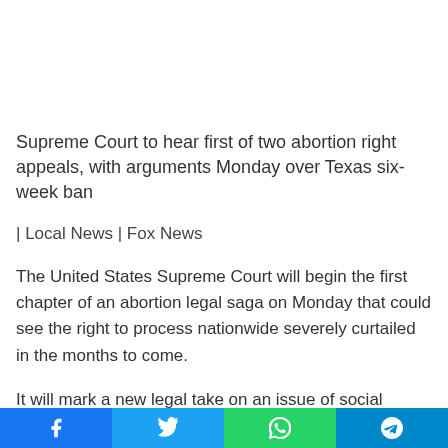Supreme Court to hear first of two abortion right appeals, with arguments Monday over Texas six-week ban
| Local News | Fox News
The United States Supreme Court will begin the first chapter of an abortion legal saga on Monday that could see the right to process nationwide severely curtailed in the months to come.
It will mark a new legal take on an issue of social division, with a conservative 6-3 high court majority ready for a politically